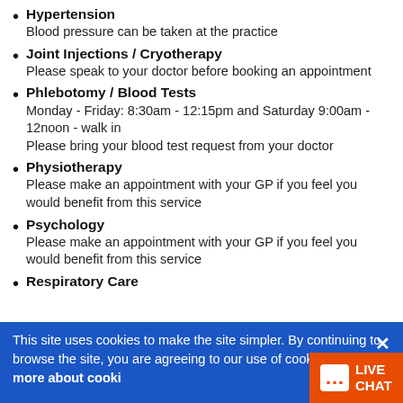Hypertension
Blood pressure can be taken at the practice
Joint Injections / Cryotherapy
Please speak to your doctor before booking an appointment
Phlebotomy / Blood Tests
Monday - Friday: 8:30am - 12:15pm and Saturday 9:00am - 12noon - walk in
Please bring your blood test request from your doctor
Physiotherapy
Please make an appointment with your GP if you feel you would benefit from this service
Psychology
Please make an appointment with your GP if you feel you would benefit from this service
Respiratory Care
This site uses cookies to make the site simpler. By continuing to browse the site, you are agreeing to our use of cookies. Find out more about cookies